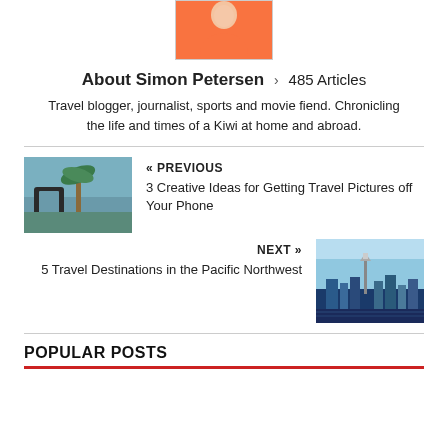[Figure (photo): Profile photo of Simon Petersen in an orange shirt, cropped to show upper body and face]
About Simon Petersen › 485 Articles
Travel blogger, journalist, sports and movie fiend. Chronicling the life and times of a Kiwi at home and abroad.
[Figure (photo): Photo of a person holding a smartphone up to photograph palm trees]
« PREVIOUS
3 Creative Ideas for Getting Travel Pictures off Your Phone
NEXT »
5 Travel Destinations in the Pacific Northwest
[Figure (photo): Photo of the Seattle skyline at dusk with the Space Needle visible]
POPULAR POSTS